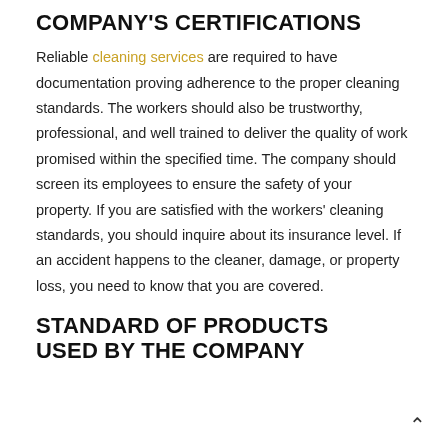COMPANY'S CERTIFICATIONS
Reliable cleaning services are required to have documentation proving adherence to the proper cleaning standards. The workers should also be trustworthy, professional, and well trained to deliver the quality of work promised within the specified time. The company should screen its employees to ensure the safety of your property. If you are satisfied with the workers' cleaning standards, you should inquire about its insurance level. If an accident happens to the cleaner, damage, or property loss, you need to know that you are covered.
STANDARD OF PRODUCTS USED BY THE COMPANY